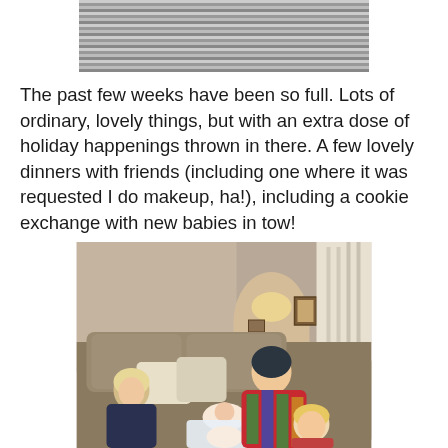[Figure (photo): Top portion of a photo showing a striped fabric or clothing item in grey and dark tones]
The past few weeks have been so full. Lots of ordinary, lovely things, but with an extra dose of holiday happenings thrown in there. A few lovely dinners with friends (including one where it was requested I do makeup, ha!), including a cookie exchange with new babies in tow!
[Figure (photo): Indoor photo of people sitting on a couch with babies. A woman with blonde hair on the left, another woman with dark hair in a colorful patterned sweater leaning over, and a young blonde girl, with two babies lying on the couch.]